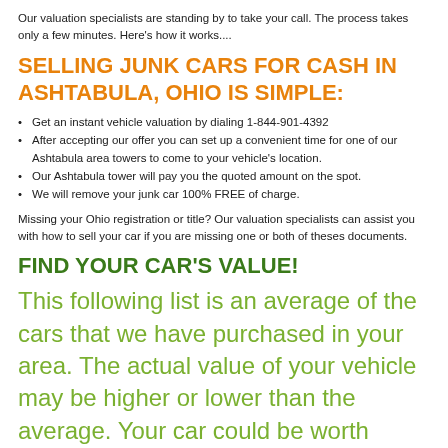Our valuation specialists are standing by to take your call. The process takes only a few minutes. Here's how it works....
SELLING JUNK CARS FOR CASH IN ASHTABULA, OHIO IS SIMPLE:
Get an instant vehicle valuation by dialing 1-844-901-4392
After accepting our offer you can set up a convenient time for one of our Ashtabula area towers to come to your vehicle's location.
Our Ashtabula tower will pay you the quoted amount on the spot.
We will remove your junk car 100% FREE of charge.
Missing your Ohio registration or title? Our valuation specialists can assist you with how to sell your car if you are missing one or both of theses documents.
FIND YOUR CAR'S VALUE!
This following list is an average of the cars that we have purchased in your area. The actual value of your vehicle may be higher or lower than the average. Your car could be worth substantially more! Call now to